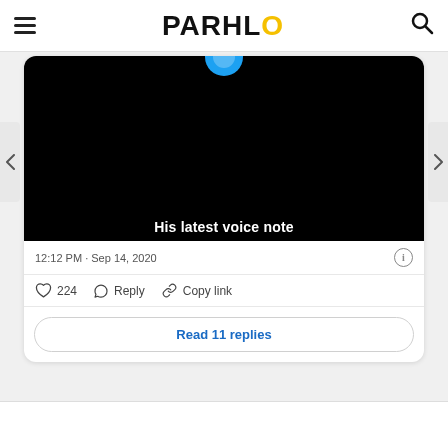PARHLO
[Figure (screenshot): A tweet screenshot showing a black image with text 'His latest voice note' and a blue Twitter circle icon at the top. Timestamp: 12:12 PM · Sep 14, 2020. Actions: heart 224, Reply, Copy link. Button: Read 11 replies.]